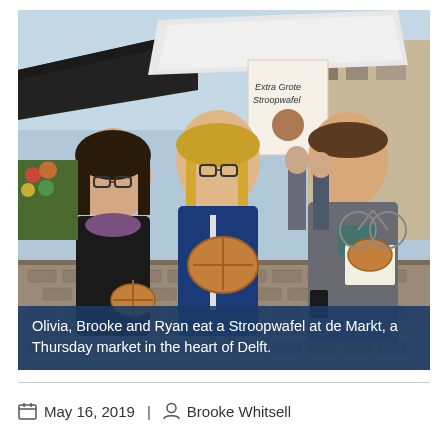[Figure (photo): Three people (Olivia, Brooke, and Ryan) standing outdoors at a market, each holding a Stroopwafel. There is a market stall with a sign reading 'Extra Grote Stroopwafels' in the background, along with a busy street market scene.]
Olivia, Brooke and Ryan eat a Stroopwafel at de Markt, a Thursday market in the heart of Delft.
May 16, 2019  |  Brooke Whitsell